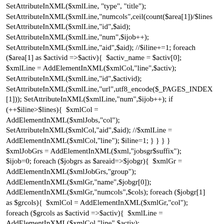SetAttributeInXML($xmlLine,"type","title"); SetAttributeInXML($xmlLine,"numcols",ceil(count($area[1])/$lines SetAttributeInXML($xmlLine,"id",$aid); SetAttributeInXML($xmlLine,"num",$ijob++); SetAttributeInXML($xmlLine,"aid",$aid); //$iline+=1; foreach ($area[1] as $activid =>$activ){ $activ_name = $activ[0]; $xmlLine = AddElementInXML($xmlCol,"line",$activ); SetAttributeInXML($xmlLine,"id",$activid); SetAttributeInXML($xmlLine,"url",utf8_encode($_PAGES_INDEX [1])); SetAttributeInXML($xmlLine,"num",$ijob++); if (++$iline>$lines){ $xmlCol = AddElementInXML($xmlJobs,"col"); SetAttributeInXML($xmlCol,"aid",$aid); //$xmlLine = AddElementInXML($xmlCol,"line"); $iline=1; } } } } $xmlJobGrs = AddElementInXML($xml,"jobsgr$suffix"); $ijob=0; foreach ($jobgrs as $areaid=>$jobgr){ $xmlGr = AddElementInXML($xmlJobGrs,"group"); AddElementInXML($xmlGr,"name",$jobgr[0]); AddElementInXML($xmlGr,"numcols",$cols); foreach ($jobgr[1] as $grcols){ $xmlCol = AddElementInXML($xmlGr,"col"); foreach ($grcols as $activid =>$activ){ $xmlLine = AddElementInXML($xmlCol,"line",$activ); SetAttributeInXML($xmlLine,"id",$activid); SetAttributeInXML($xmlLine,"url",utf8_encode($_PAGES_INDEX [1])); SetAttributeInXML($xmlLine,"num",++$ijob); } } } AddElementInXML($xml,"total_jobs",$ijob); } function